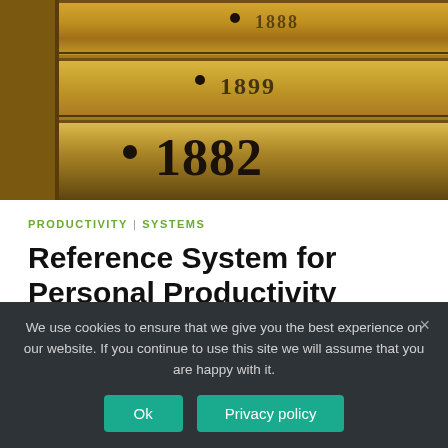[Figure (photo): Wooden filing drawers with numbered labels, showing '1882' prominently in the foreground and partially visible numbers above (1888, 1899)]
PRODUCTIVITY | SYSTEMS
Reference System for Personal Productivity
We use cookies to ensure that we give you the best experience on our website. If you continue to use this site we will assume that you are happy with it.